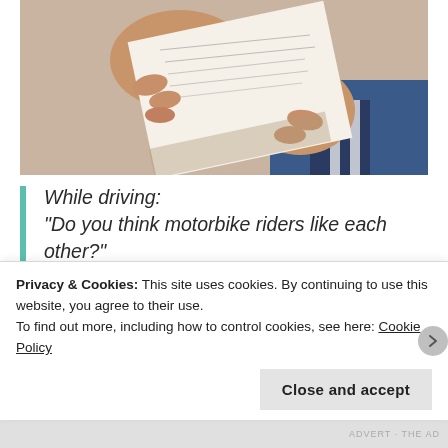[Figure (photo): A photo of baby/child hands holding up a piece of paper with text on it, with blue and striped clothing visible in the background.]
While driving:
"Do you think motorbike riders like each other?"
"No. They shoot each other."
"No, I don't mean gangs. I mean, when they're out on their bike and they see another bike rider – do you think it gives them a
Privacy & Cookies: This site uses cookies. By continuing to use this website, you agree to their use.
To find out more, including how to control cookies, see here: Cookie Policy
Close and accept